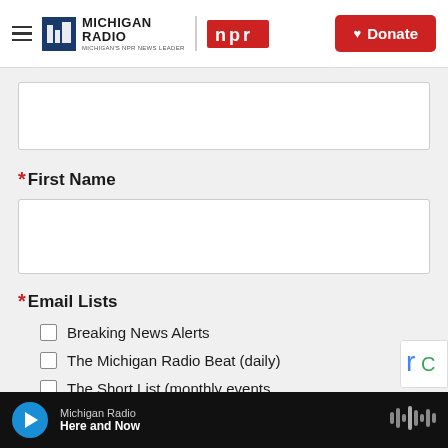Michigan Radio | NPR | Donate
* First Name
* Email Lists
Breaking News Alerts
The Michigan Radio Beat (daily)
The Short List (monthly events listings)
This Week @ Michigan Radio (the
Michigan Radio | Here and Now